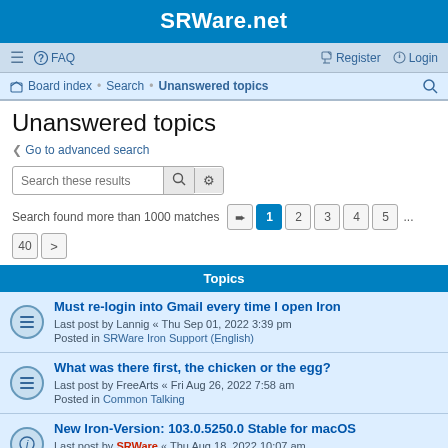SRWare.net
≡  FAQ   Register  Login
Board index · Search · Unanswered topics
Unanswered topics
< Go to advanced search
Search these results
Search found more than 1000 matches  1 2 3 4 5 ... 40 >
Topics
Must re-login into Gmail every time I open Iron
Last post by Lannig « Thu Sep 01, 2022 3:39 pm
Posted in SRWare Iron Support (English)
What was there first, the chicken or the egg?
Last post by FreeArts « Fri Aug 26, 2022 7:58 am
Posted in Common Talking
New Iron-Version: 103.0.5250.0 Stable for macOS
Last post by SRWare « Thu Aug 18, 2022 10:07 am
Posted in SRWare Iron Support (Russian)
Neue Iron-Version: 103.0.5250.0 Stable für Linux